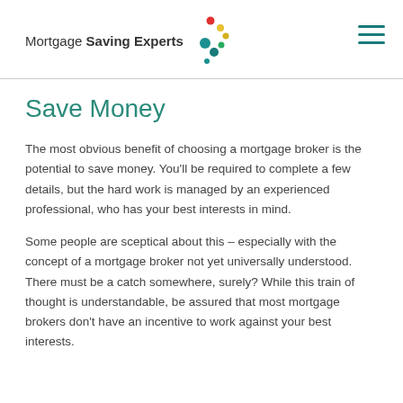Mortgage Saving Experts
Save Money
The most obvious benefit of choosing a mortgage broker is the potential to save money. You'll be required to complete a few details, but the hard work is managed by an experienced professional, who has your best interests in mind.
Some people are sceptical about this – especially with the concept of a mortgage broker not yet universally understood. There must be a catch somewhere, surely? While this train of thought is understandable, be assured that most mortgage brokers don't have an incentive to work against your best interests.